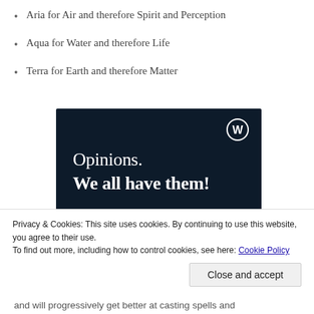Aria for Air and therefore Spirit and Perception
Aqua for Water and therefore Life
Terra for Earth and therefore Matter
[Figure (illustration): Dark navy advertisement banner with WordPress logo, text 'Opinions. We all have them!', a pink button bar, and a light circle at the bottom right.]
Privacy & Cookies: This site uses cookies. By continuing to use this website, you agree to their use.
To find out more, including how to control cookies, see here: Cookie Policy
Close and accept
and will progressively get better at casting spells and